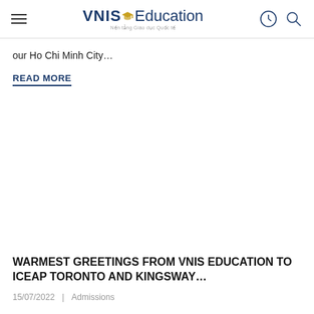VNIS Education
our Ho Chi Minh City...
READ MORE
WARMEST GREETINGS FROM VNIS EDUCATION TO ICEAP TORONTO AND KINGSWAY...
15/07/2022 | Admissions